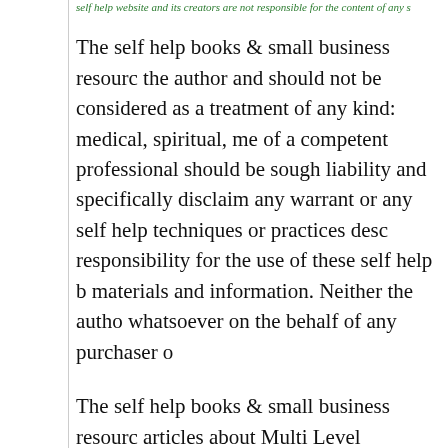self help website and its creators are not responsible for the content of any s
The self help books & small business resourc the author and should not be considered as a treatment of any kind: medical, spiritual, me of a competent professional should be sough liability and specifically disclaim any warrant or any self help techniques or practices desc responsibility for the use of these self help b materials and information. Neither the autho whatsoever on the behalf of any purchaser o
The self help books & small business resourc articles about Multi Level Marketing Success supplement and marketing network secret se network marketing tools and training for dire articles for Multi Level Marketing Success ML opportunity and network marketing consultan